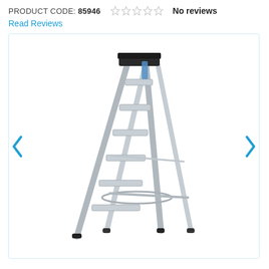PRODUCT CODE: 85946   No reviews
Read Reviews
[Figure (photo): An aluminium A-frame step ladder with 7 steps, a platform top, and a stabilising spreader bar, shown against a white background.]